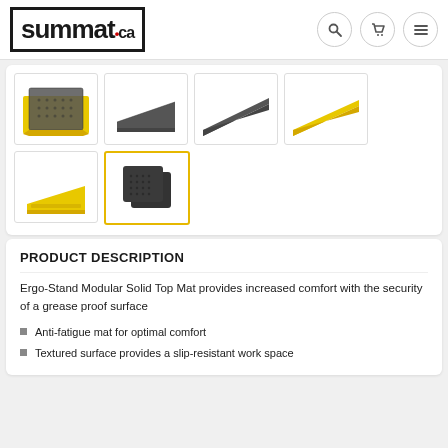[Figure (logo): Summat.ca logo in bold black font inside a rectangular border]
[Figure (illustration): Product thumbnail images: yellow-bordered mat tile, dark ramp edge piece, dark angled trim piece, yellow trim piece, yellow corner ramp, black modular mat tiles (selected with yellow border)]
PRODUCT DESCRIPTION
Ergo-Stand Modular Solid Top Mat provides increased comfort with the security of a grease proof surface
Anti-fatigue mat for optimal comfort
Textured surface provides a slip-resistant work space